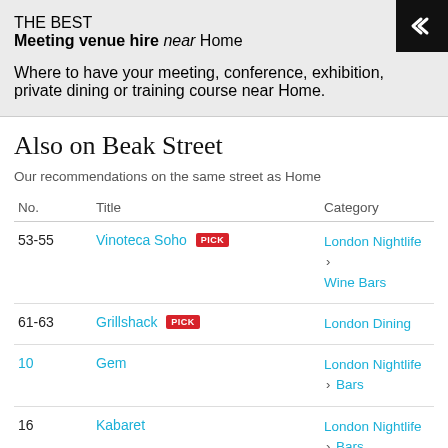THE BEST
Meeting venue hire near Home
Where to have your meeting, conference, exhibition, private dining or training course near Home.
Also on Beak Street
Our recommendations on the same street as Home
| No. | Title | Category |
| --- | --- | --- |
| 53-55 | Vinoteca Soho [PICK] | London Nightlife > Wine Bars |
| 61-63 | Grillshack [PICK] | London Dining |
| 10 | Gem | London Nightlife > Bars |
| 16 | Kabaret | London Nightlife > Bars |
| 17 | Flat Iron, Beak Street | London Dining > |